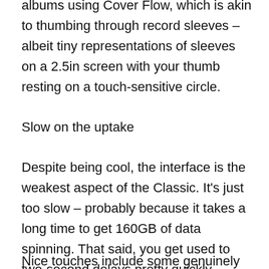albums using Cover Flow, which is akin to thumbing through record sleeves – albeit tiny representations of sleeves on a 2.5in screen with your thumb resting on a touch-sensitive circle.
Slow on the uptake
Despite being cool, the interface is the weakest aspect of the Classic. It's just too slow – probably because it takes a long time to get 160GB of data spinning. That said, you get used to two-second delays pretty quickly.
Nice touches include some genuinely impressive